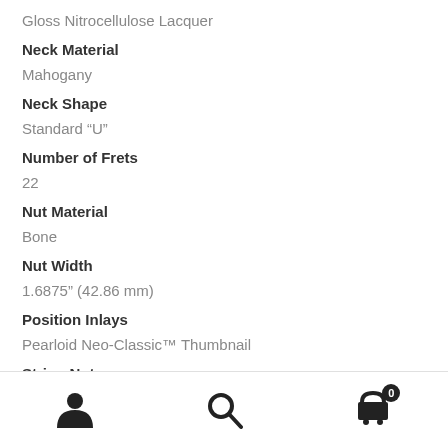Gloss Nitrocellulose Lacquer
Neck Material
Mahogany
Neck Shape
Standard “U”
Number of Frets
22
Nut Material
Bone
Nut Width
1.6875” (42.86 mm)
Position Inlays
Pearloid Neo-Classic™ Thumbnail
String Nut
Bone
icons: account, search, cart (0)